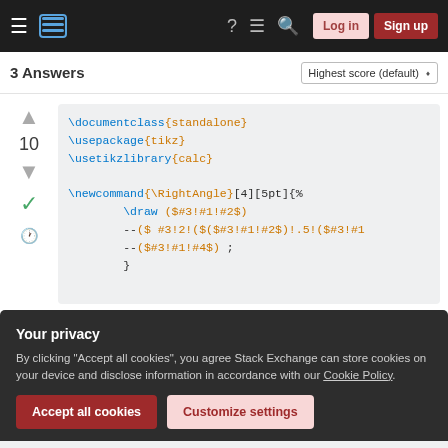Stack Exchange navigation bar with hamburger menu, logo, help, chat, search icons, Log in and Sign up buttons
3 Answers
Highest score (default)
[Figure (screenshot): Code block with LaTeX/TikZ code: \documentclass{standalone} \usepackage{tikz} \usetikzlibrary{calc} \newcommand{\RightAngle}[4][5pt]{% \draw ($#3!#1!#2$) --($ #3!2!($($#3!#1!#2$)!.5!($#3!#1 --($#3!#1!#4$) ; }]
Your privacy
By clicking "Accept all cookies", you agree Stack Exchange can store cookies on your device and disclose information in accordance with our Cookie Policy.
Accept all cookies
Customize settings